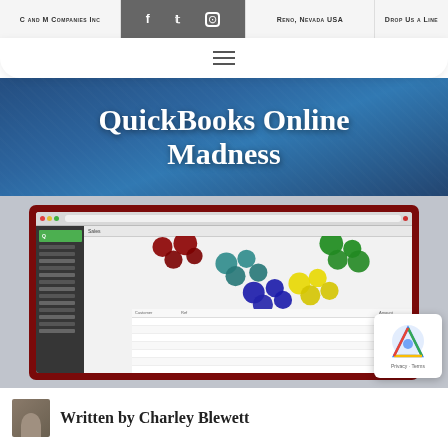C and M Companies Inc | Facebook | Twitter | Instagram | Reno, Nevada USA | Drop Us a Line
[Figure (screenshot): Website screenshot showing QuickBooks Online Sales dashboard with colorful bubble chart overlay on dark red framed monitor]
QuickBooks Online Madness
Written by Charley Blewett